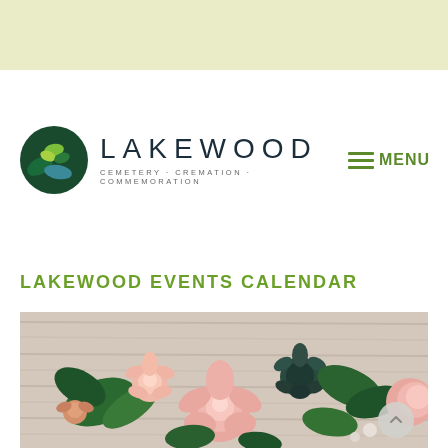[Figure (logo): Lakewood Cemetery logo with circular leaf/landscape emblem and text LAKEWOOD CEMETERY · CREMATION · COMMEMORATION, plus hamburger menu icon with MENU label in green]
LAKEWOOD EVENTS CALENDAR
[Figure (photo): Close-up photo of pink roses and other floral arrangements with green leaves on a light wooden background]